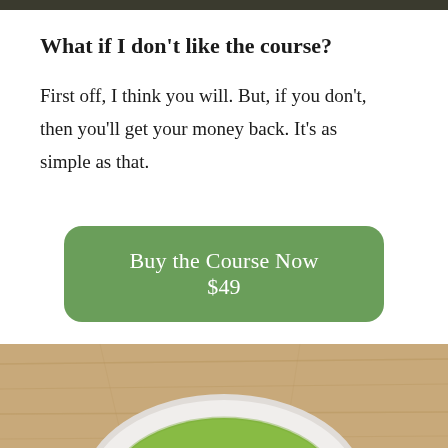What if I don't like the course?
First off, I think you will. But, if you don't, then you'll get your money back. It's as simple as that.
Buy the Course Now $49
[Figure (photo): A white bowl containing green soup or matcha liquid, photographed from above on a wooden surface.]